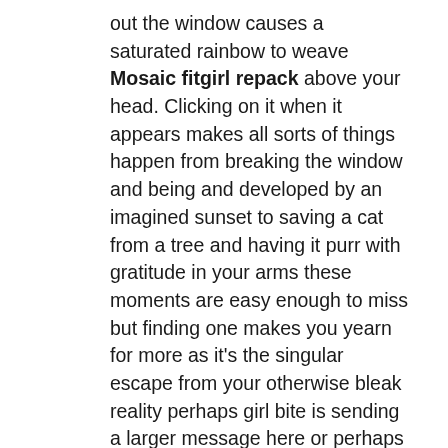out the window causes a saturated rainbow to weave Mosaic fitgirl repack above your head. Clicking on it when it appears makes all sorts of things happen from breaking the window and being and developed by an imagined sunset to saving a cat from a tree and having it purr with gratitude in your arms these moments are easy enough to miss but finding one makes you yearn for more as it's the singular escape from your otherwise bleak reality perhaps girl bite is sending a larger message here or perhaps the heights of luminosity are being used to contrast just how dark the underbelly of mosaics dystopia gets there are glimpses of this darkness through cryptic static encoded messages that invade your screen but unraveling the mysteries of what why and how will presumably only become clearer when the full game arrives my experienced sofa insinuate that the path to your everyday grind is paved with nothing out of the ordinary, but the